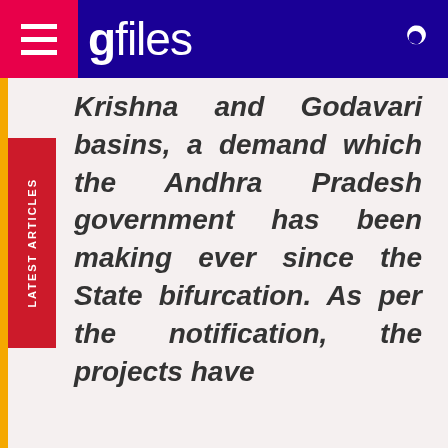gfiles
Krishna and Godavari basins, a demand which the Andhra Pradesh government has been making ever since the State bifurcation. As per the notification, the projects have